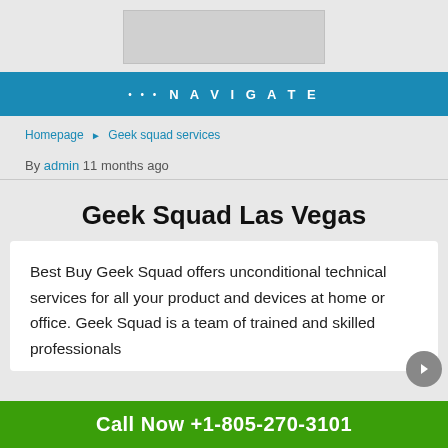[Figure (other): Advertisement banner placeholder (gray box)]
... NAVIGATE
Homepage ▶ Geek squad services
By admin 11 months ago
Geek Squad Las Vegas
Best Buy Geek Squad offers unconditional technical services for all your product and devices at home or office. Geek Squad is a team of trained and skilled professionals
Call Now +1-805-270-3101